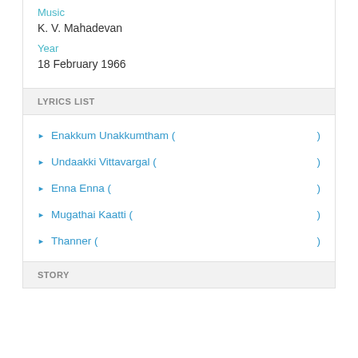Music
K. V. Mahadevan
Year
18 February 1966
LYRICS LIST
Enakkum Unakkumtham ( )
Undaakki Vittavargal ( )
Enna Enna ( )
Mugathai Kaatti ( )
Thanner ( )
STORY